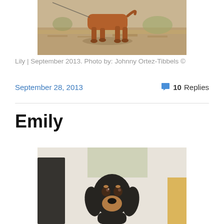[Figure (photo): A dog (appears to be a dachshund or similar breed) running on dry grassy/sandy ground, shot from the side showing legs and lower body, outdoor setting with dry vegetation.]
Lily | September 2013. Photo by: Johnny Ortez-Tibbels ©
September 28, 2013
10 Replies
Emily
[Figure (photo): A black and tan dachshund dog looking up at the camera, close-up portrait shot with a blurred indoor background.]